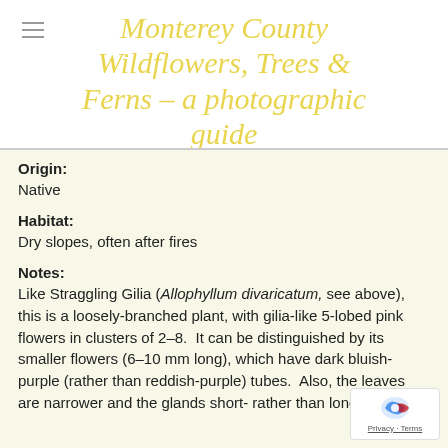Monterey County Wildflowers, Trees & Ferns – a photographic guide
Origin:
Native
Habitat:
Dry slopes, often after fires
Notes:
Like Straggling Gilia (Allophyllum divaricatum, see above), this is a loosely-branched plant, with gilia-like 5-lobed pink flowers in clusters of 2–8.  It can be distinguished by its smaller flowers (6–10 mm long), which have dark bluish-purple (rather than reddish-purple) tubes.  Also, the leaves are narrower and the glands short- rather than long-stalked.